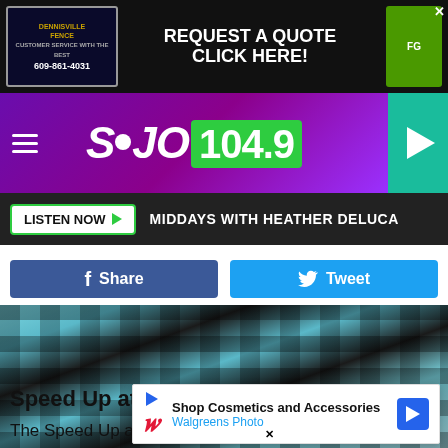[Figure (screenshot): Dennisville Fence advertisement banner - Request a Quote Click Here!]
[Figure (screenshot): SoJO 104.9 radio station header with purple background, hamburger menu, and play button]
LISTEN NOW ▶  MIDDAYS WITH HEATHER DELUCA
[Figure (screenshot): Facebook Share and Twitter Tweet buttons]
[Figure (photo): Person in a teal/black plaid shirt gripping a steering wheel while driving]
iStockphoto
Speed Up at the Pass
The Speed Up at the Pass guy is the guy in front of you who is doin                                                                you have a                                                         n. In
[Figure (screenshot): Walgreens Photo overlay advertisement - Shop Cosmetics and Accessories]